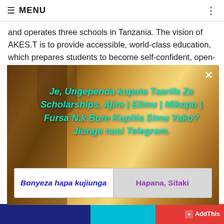≡ MENU
and operates three schools in Tanzania. The vision of AKES.T is to provide accessible, world-class education, which prepares students to become self-confident, open-minded articulate and
[Figure (screenshot): Popup/modal overlay with warm bokeh background showing a person with shopping bags. Overlay contains Swahili text inviting users to join a Telegram channel for scholarships, jobs, education, loans and other opportunities. Two buttons at bottom: 'Bonyeza hapa kujiunga' (blue bold italic) and 'Hapana, Sitaki' (purple). Close X button top right.]
AddThis